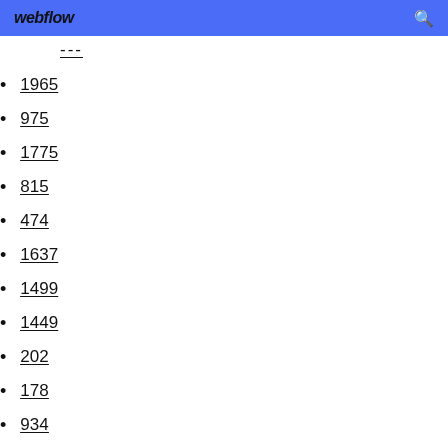webflow
...
1965
975
1775
815
474
1637
1499
1449
202
178
934
1430